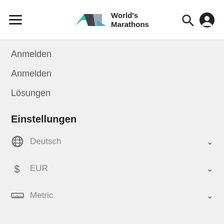World's Marathons
Anmelden
Anmelden
Lösungen
Einstellungen
Deutsch
EUR
Metric